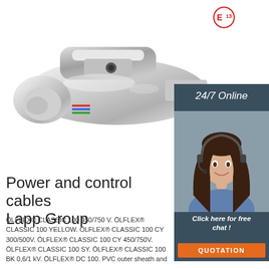[Figure (photo): Chrome/silver trailer hitch coupler ball mount, shown at slight angle. Product shot on white background.]
[Figure (infographic): Size labels: 50x40mm, 50x50mm, 50x60mm shown as blue pill-shaped tags]
[Figure (photo): Dark blue panel with woman agent wearing headset, 24/7 Online text, Click here for free chat button, and orange QUOTATION button]
Power and control cables Lapp Group
ÖLFLEX® CLASSIC 100 450/750 V. ÖLFLEX® CLASSIC 100 YELLOW. ÖLFLEX® CLASSIC 100 CY 300/500V. ÖLFLEX® CLASSIC 100 CY 450/750V. ÖLFLEX® CLASSIC 100 SY. ÖLFLEX® CLASSIC 100 BK 0,6/1 kV. ÖLFLEX® DC 100. PVC outer sheath and ...